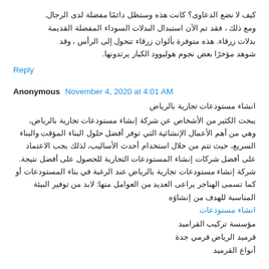كيف لا نضع الدعاوى؟ كانت هذه وستظل دائمًا مفضلة لدى الرجال. ومع ذلك ، فقد تم الآن استبدال البدلات السوداء المفضلة القديمة بدلات زرقاء. هذه متوفرة بألوان زرقاء تتحول إلى الرأس ، وقد شوهد مؤخرًا بعض نجوم هوليوود الكبار يرتدونها.
Reply
Anonymous  November 4, 2020 at 4:01 AM
انشاء مستودعات تجارية بالرياض
يبحث الكثير من الأشخاص عن شركة إنشاء مستودعات تجارية بالرياض، وهي من أهم الأعمال الإنشائية التي توفر أفضل حلول البناء المؤقت والبناء السريع، حيث تتم من خلال استخدام أحدث الأساليب، لذلك يجب الاعتماد على أفضل شركات إنشاء المستودعات التجارية للحصول على أفضل نتيجة. شركة إنشاء مستودعات تجارية بالرياض عند الرغبة في بناء المستودعات أو كما تسمى الهناجر يراعى العديد من العوامل منها: لابد من توفير البيئة المناسبة للهدف من إنشاؤه
انشاء مستودعات
مؤسسة تركيب القراميد
قرميد الرياض قرمي جدة
أنواع القرميد